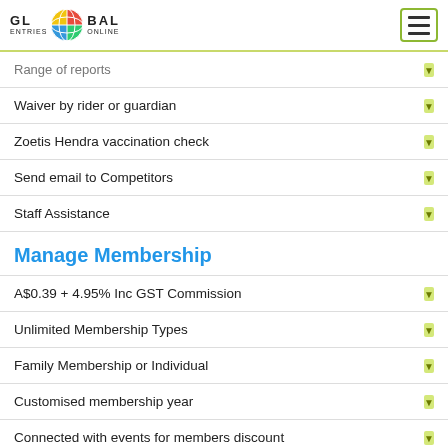Global Entries Online
Range of reports
Waiver by rider or guardian
Zoetis Hendra vaccination check
Send email to Competitors
Staff Assistance
Manage Membership
A$0.39 + 4.95% Inc GST Commission
Unlimited Membership Types
Family Membership or Individual
Customised membership year
Connected with events for members discount